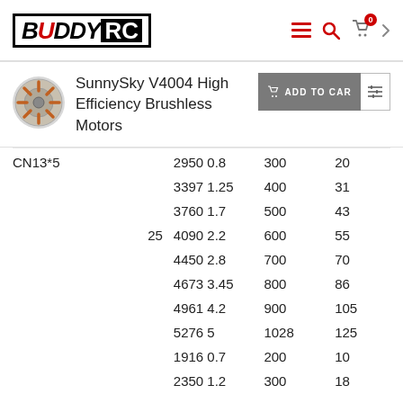BUDDY RC — navigation header with logo, hamburger, search, and cart icons
SunnySky V4004 High Efficiency Brushless Motors
| Prop |  | RPM/A | Thrust(g) | Power(W) |  |
| --- | --- | --- | --- | --- | --- |
| CN13*5 |  | 2950 0.8 | 300 | 20 |  |
|  |  | 3397 1.25 | 400 | 31 |  |
|  |  | 3760 1.7 | 500 | 43 |  |
|  | 25 | 4090 2.2 | 600 | 55 |  |
|  |  | 4450 2.8 | 700 | 70 |  |
|  |  | 4673 3.45 | 800 | 86 |  |
|  |  | 4961 4.2 | 900 | 105 |  |
|  |  | 5276 5 | 1028 | 125 |  |
|  |  | 1916 0.7 | 200 | 10 |  |
|  |  | 2350 1.2 | 300 | 18 |  |